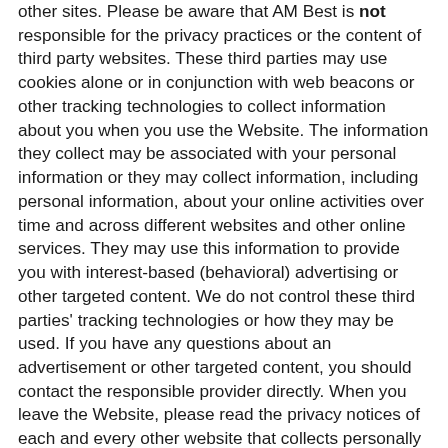other sites. Please be aware that AM Best is not responsible for the privacy practices or the content of third party websites. These third parties may use cookies alone or in conjunction with web beacons or other tracking technologies to collect information about you when you use the Website. The information they collect may be associated with your personal information or they may collect information, including personal information, about your online activities over time and across different websites and other online services. They may use this information to provide you with interest-based (behavioral) advertising or other targeted content. We do not control these third parties' tracking technologies or how they may be used. If you have any questions about an advertisement or other targeted content, you should contact the responsible provider directly. When you leave the Website, please read the privacy notices of each and every other website that collects personally identifiable information.